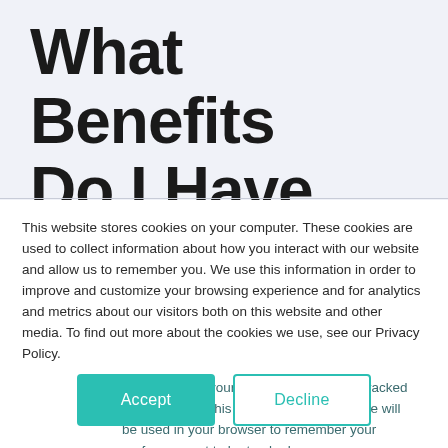What Benefits Do I Have
This website stores cookies on your computer. These cookies are used to collect information about how you interact with our website and allow us to remember you. We use this information in order to improve and customize your browsing experience and for analytics and metrics about our visitors both on this website and other media. To find out more about the cookies we use, see our Privacy Policy.
If you decline, your information won't be tracked when you visit this website. A single cookie will be used in your browser to remember your preference not to be tracked.
Accept
Decline